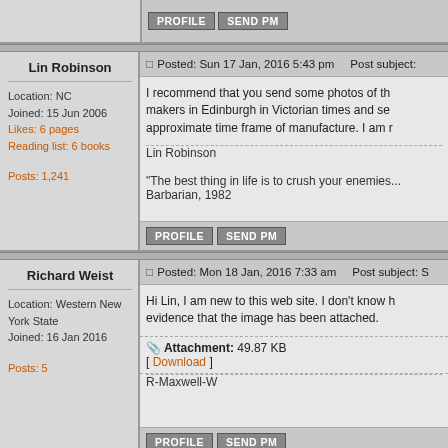PROFILE   SEND PM
Lin Robinson
Posted: Sun 17 Jan, 2016 5:43 pm   Post subject:
I recommend that you send some photos of the makers in Edinburgh in Victorian times and se approximate time frame of manufacture. I am r
Lin Robinson

"The best thing in life is to crush your enemies... Barbarian, 1982
PROFILE   SEND PM
Richard Weist
Posted: Mon 18 Jan, 2016 7:33 am   Post subject: S
Hi Lin, I am new to this web site. I don't know h evidence that the image has been attached.
Attachment: 49.87 KB
[ Download ]
R-Maxwell-W
PROFILE   SEND PM
Location: Western New York State
Joined: 16 Jan 2016
Posts: 5